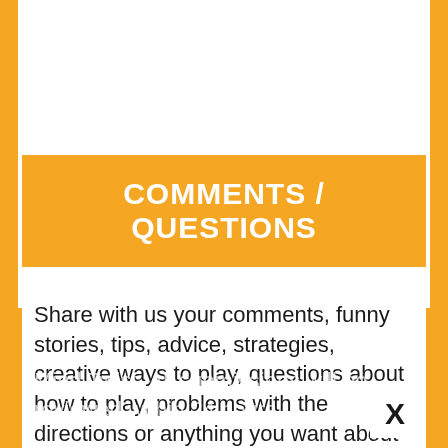COMMENTS / QUESTIONS
Share with us your comments, funny stories, tips, advice, strategies, creative ways to play, questions about how to play, problems with the directions or anything you want about Mind Twist. All submissions will be reviewed within 24 hours.